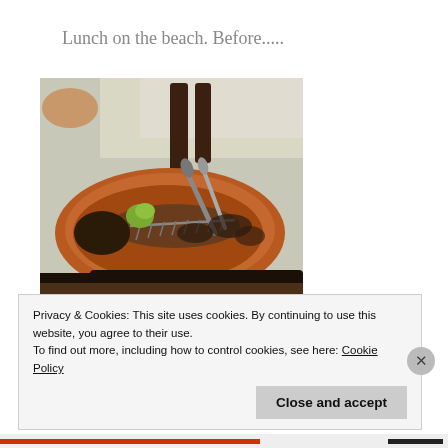Lunch on the beach. Before.....
[Figure (photo): A clay oval dish containing a whole cooked fish (mostly bones/skeleton visible), garnished with lime wedges and herbs, with tongs resting across it, placed on a dark wooden surface at an outdoor beach restaurant.]
Privacy & Cookies: This site uses cookies. By continuing to use this website, you agree to their use.
To find out more, including how to control cookies, see here: Cookie Policy
Close and accept